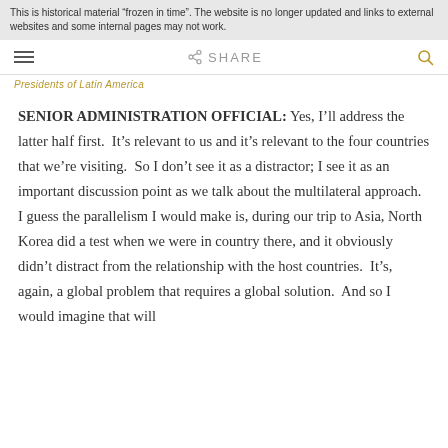This is historical material “frozen in time”. The website is no longer updated and links to external websites and some internal pages may not work.
Presidents of Latin America
SENIOR ADMINISTRATION OFFICIAL: Yes, I’ll address the latter half first. It’s relevant to us and it’s relevant to the four countries that we’re visiting. So I don’t see it as a distractor; I see it as an important discussion point as we talk about the multilateral approach. I guess the parallelism I would make is, during our trip to Asia, North Korea did a test when we were in country there, and it obviously didn’t distract from the relationship with the host countries. It’s, again, a global problem that requires a global solution. And so I would imagine that will